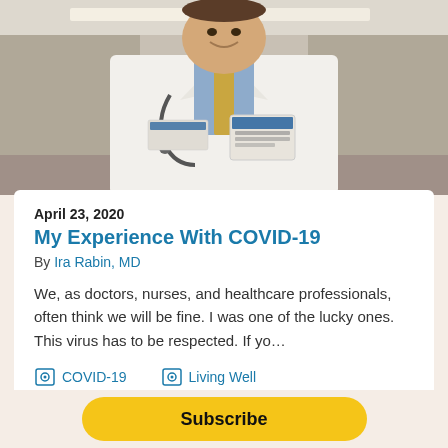[Figure (photo): Smiling doctor in white coat with stethoscope standing in a hospital hallway. Badge reads Ira Rabin MD, Osteopathic Medicine.]
April 23, 2020
My Experience With COVID-19
By Ira Rabin, MD
We, as doctors, nurses, and healthcare professionals, often think we will be fine. I was one of the lucky ones. This virus has to be respected. If yo…
COVID-19
Living Well
Subscribe